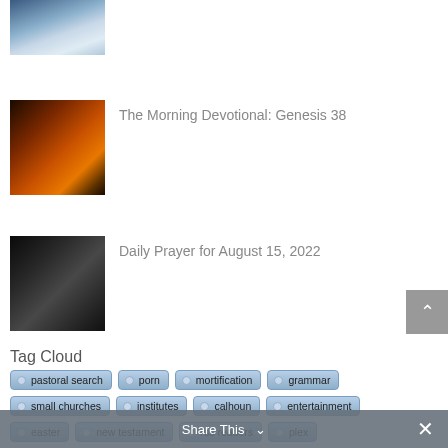[Figure (photo): Partial top image – ocean/sky scene, cropped]
The Morning Devotional: Genesis 38
[Figure (photo): Fiery/dramatic nature photo]
Daily Prayer for August 15, 2022
[Figure (photo): Hands on an open Bible]
Tag Cloud
pastoral search
porn
mortification
grammar
small churches
institutes
calhoun
entertainment
easter
new testament
rss readers
plex
streaming media
exegesis
streaming tv
youth
Share This ∨  ×